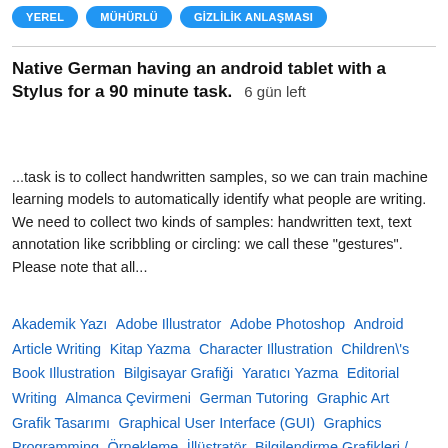YEREL   MÜHÜRLÜ   GİZLİLİK ANLAŞMASI
Native German having an android tablet with a Stylus for a 90 minute task.  6 gün left
...task is to collect handwritten samples, so we can train machine learning models to automatically identify what people are writing. We need to collect two kinds of samples: handwritten text, text annotation like scribbling or circling: we call these "gestures". Please note that all...
Akademik Yazı   Adobe Illustrator   Adobe Photoshop   Android   Article Writing   Kitap Yazma   Character Illustration   Children\'s Book Illustration   Bilgisayar Grafiği   Yaratıcı Yazma   Editorial Writing   Almanca Çevirmeni   German Tutoring   Graphic Art   Grafik Tasarımı   Graphical User Interface (GUI)   Graphics Programming   Örnekleme   İllüstratör   Bilgilendirme Grafikleri / İnfografikler   Local Job   Hareketli Grafik   Photoshop   Photoshop Tasarımı   Python   Satış   Çeviri   Writing